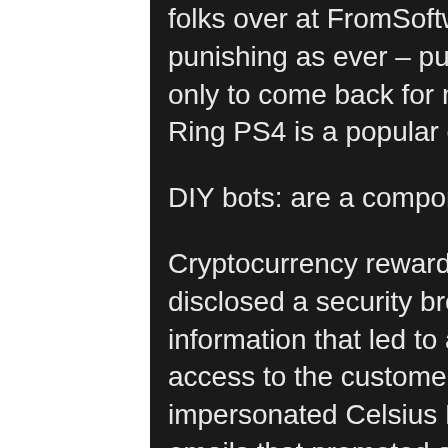folks over at FromSoftware. And the game is as punishing as ever – pushing many players to rage quit only to come back for more a few hours later. Elden Ring PS4 is a popular choice if you can't get your...
DIY bots: are a component of the Ecosystem:
Cryptocurrency rewards platform Celsius Network disclosed a security breach exposing customer information that led to a phishing attack. After gaining access to the customer list, the threat actors impersonated Celsius Networks in phishing texts and emails that promoted a new Celsius Web Wallet.
Discord users have the ability to use a different display nickname in each of their servers. Discord Nitro subscribers can also use a different avatar in each of their servers. If you ever want to change your server nickname or avatar, you'll need to